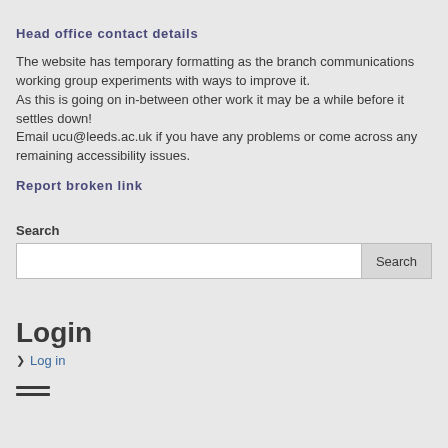Head office contact details
The website has temporary formatting as the branch communications working group experiments with ways to improve it.
As this is going on in-between other work it may be a while before it settles down!
Email ucu@leeds.ac.uk if you have any problems or come across any remaining accessibility issues.
Report broken link
Search
[Figure (other): Search input field with Search button]
Login
Log in
[Figure (other): Hamburger menu icon (three horizontal lines)]